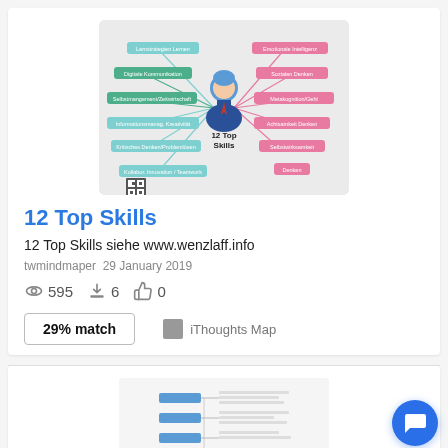[Figure (screenshot): Mind map thumbnail showing '12 Top Skills' with a business person icon in the center and colored labels radiating outward on both sides]
12 Top Skills
12 Top Skills siehe www.wenzlaff.info
twmindmaper  29 January 2019
595 views  6 downloads  0 likes
29% match
iThoughts Map
[Figure (screenshot): Second mind map thumbnail showing a hierarchical mind map with blue node labels and text branches]